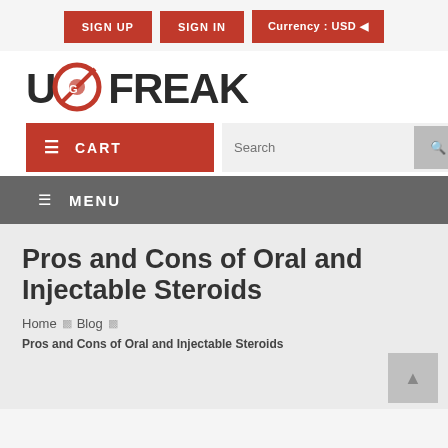SIGN UP  SIGN IN  Currency : USD
[Figure (logo): UGFreak logo with red circular graphic replacing the 'G' character]
CART  Search
MENU
Pros and Cons of Oral and Injectable Steroids
Home  Blog
Pros and Cons of Oral and Injectable Steroids